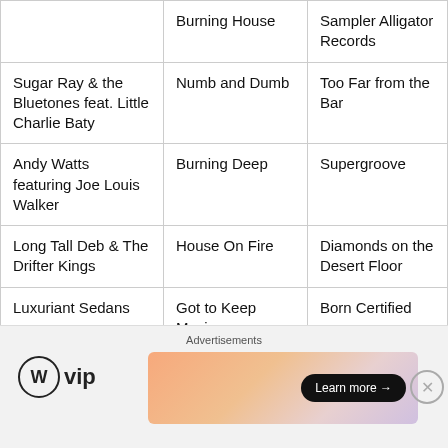| Artist | Song | Album |
| --- | --- | --- |
|  | Burning House | Sampler Alligator Records |
| Sugar Ray & the Bluetones feat. Little Charlie Baty | Numb and Dumb | Too Far from the Bar |
| Andy Watts featuring Joe Louis Walker | Burning Deep | Supergroove |
| Long Tall Deb & The Drifter Kings | House On Fire | Diamonds on the Desert Floor |
| Luxuriant Sedans | Got to Keep Moving | Born Certified |
Advertisements